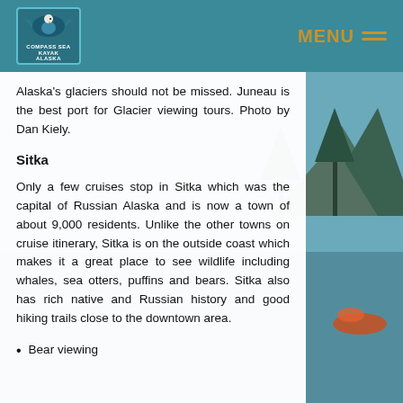MENU (navigation header with logo)
Alaska's glaciers should not be missed. Juneau is the best port for Glacier viewing tours. Photo by Dan Kiely.
Sitka
Only a few cruises stop in Sitka which was the capital of Russian Alaska and is now a town of about 9,000 residents. Unlike the other towns on cruise itinerary, Sitka is on the outside coast which makes it a great place to see wildlife including whales, sea otters, puffins and bears. Sitka also has rich native and Russian history and good hiking trails close to the downtown area.
Bear viewing